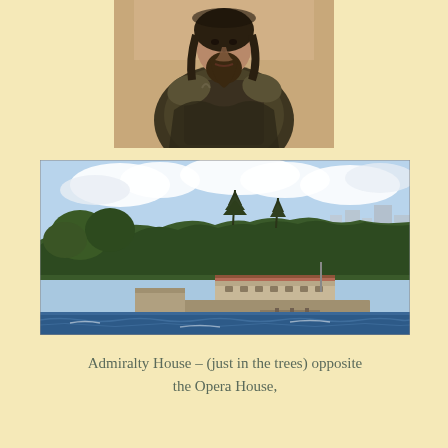[Figure (illustration): A cropped painting of a bearded man, possibly a historical or Renaissance-style portrait, showing the upper torso and head against a neutral background.]
[Figure (photo): A photograph taken from the water showing Admiralty House surrounded by trees on a promontory, with a stone building at water level, docked pier, and city buildings visible in the background under a partly cloudy sky.]
Admiralty House – (just in the trees) opposite the Opera House,